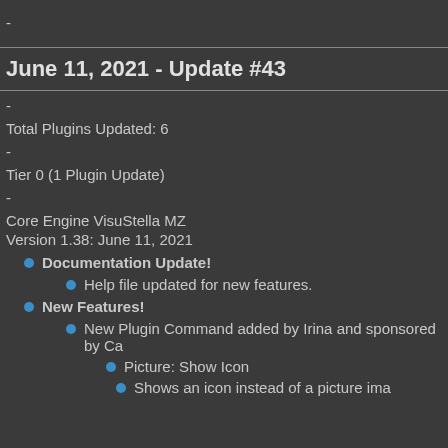-
June 11, 2021 - Update #43
-
Total Plugins Updated: 6
-
Tier 0 (1 Plugin Update)
-
Core Engine VisuStella MZ
Version 1.38: June 11, 2021
Documentation Update!
Help file updated for new features.
New Features!
New Plugin Command added by Irina and sponsored by Ca
Picture: Show Icon
Shows an icon instead of a picture image